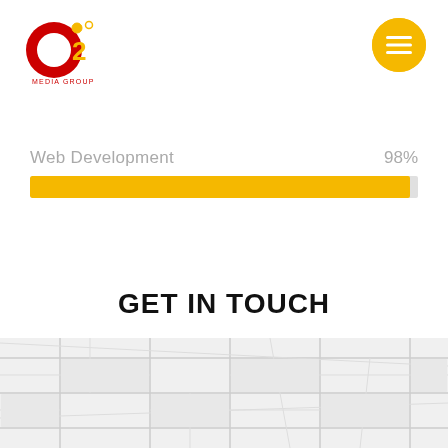[Figure (logo): O2 Media Group logo - red circular O with small yellow circles and orange 2]
[Figure (other): Yellow circular hamburger menu button with three white horizontal lines]
Web Development
98%
[Figure (bar-chart): Web Development progress bar]
GET IN TOUCH
[Figure (map): Light grey street map background at the bottom of the page]